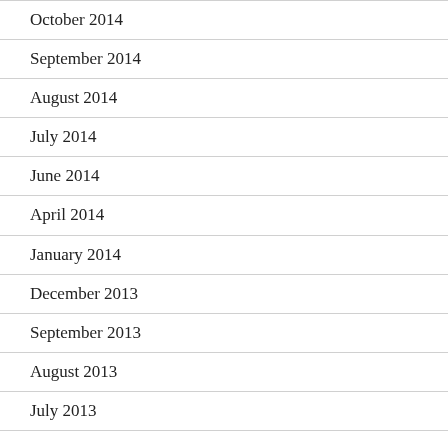October 2014
September 2014
August 2014
July 2014
June 2014
April 2014
January 2014
December 2013
September 2013
August 2013
July 2013